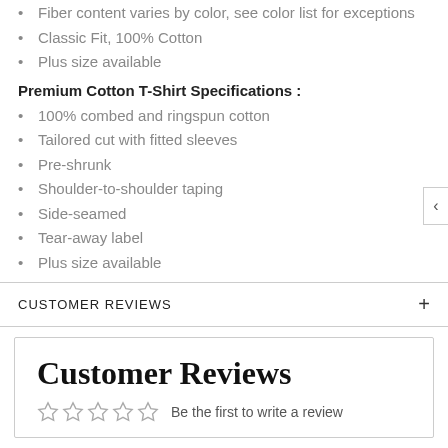Fiber content varies by color, see color list for exceptions
Classic Fit, 100% Cotton
Plus size available
Premium Cotton T-Shirt Specifications :
100% combed and ringspun cotton
Tailored cut with fitted sleeves
Pre-shrunk
Shoulder-to-shoulder taping
Side-seamed
Tear-away label
Plus size available
CUSTOMER REVIEWS
Customer Reviews
Be the first to write a review